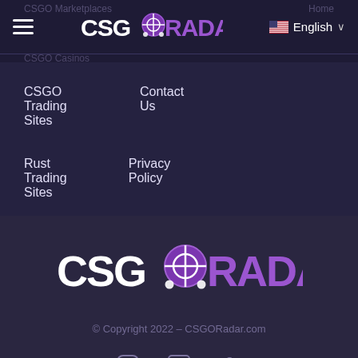CSGO Marketplaces   Home
[Figure (logo): CSGORadar logo in nav bar - white 'CSG' with purple crosshair icon and purple 'RADAR' text]
English
CSGO Trading Sites
Contact Us
Rust Trading Sites
Privacy Policy
[Figure (logo): Large CSGORadar logo in footer area - white/purple text with crosshair icon]
© Copyright 2022 – CSGORadar.com
[Figure (other): Social media icons: Instagram, Facebook, Twitter]